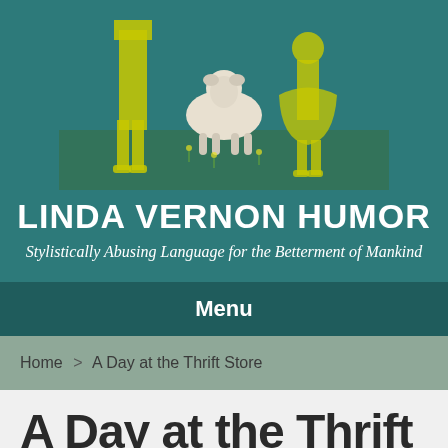[Figure (illustration): Vintage yellow-tinted image of two people with a lamb/dog on a green background, used as website header image]
LINDA VERNON HUMOR
Stylistically Abusing Language for the Betterment of Mankind
Menu
Home > A Day at the Thrift Store
A Day at the Thrift Store